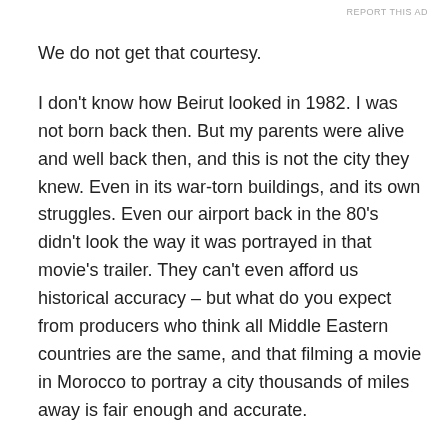We do not get that courtesy.
I don't know how Beirut looked in 1982. I was not born back then. But my parents were alive and well back then, and this is not the city they knew. Even in its war-torn buildings, and its own struggles. Even our airport back in the 80's didn't look the way it was portrayed in that movie's trailer. They can't even afford us historical accuracy – but what do you expect from producers who think all Middle Eastern countries are the same, and that filming a movie in Morocco to portray a city thousands of miles away is fair enough and accurate.
The worst part about the movie is that this is an American take on the Lebanese Civil War – to a certain extent at least – while the war itself had nothing to do with them.